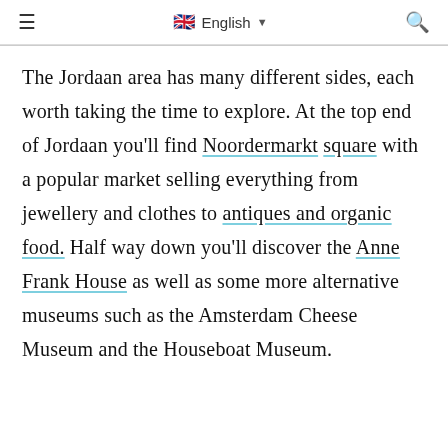≡  English ▾  🔍
The Jordaan area has many different sides, each worth taking the time to explore. At the top end of Jordaan you'll find Noordermarkt square with a popular market selling everything from jewellery and clothes to antiques and organic food. Half way down you'll discover the Anne Frank House as well as some more alternative museums such as the Amsterdam Cheese Museum and the Houseboat Museum.